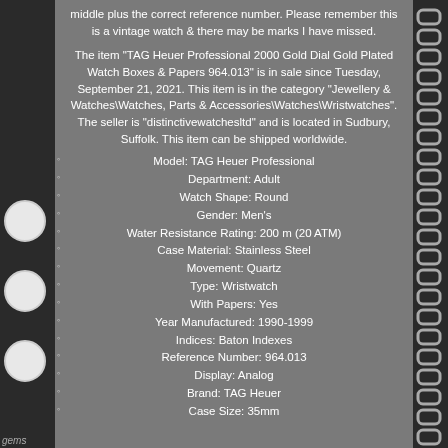middle plus the correct reference number. Please remember this is a vintage watch & there may be marks I have missed.
The item "TAG Heuer Professional 2000 Gold Dial Gold Plated Watch Boxes & Papers 964.013" is in sale since Tuesday, September 21, 2021. This item is in the category "Jewellery & Watches\Watches, Parts & Accessories\Watches\Wristwatches". The seller is "distinctivewatchesltd" and is located in Sudbury, Suffolk. This item can be shipped worldwide.
Model: TAG Heuer Professional
Department: Adult
Watch Shape: Round
Gender: Men's
Water Resistance Rating: 200 m (20 ATM)
Case Material: Stainless Steel
Movement: Quartz
Type: Wristwatch
With Papers: Yes
Year Manufactured: 1990-1999
Indices: Baton Indexes
Reference Number: 964.013
Display: Analog
Brand: TAG Heuer
Case Size: 35mm